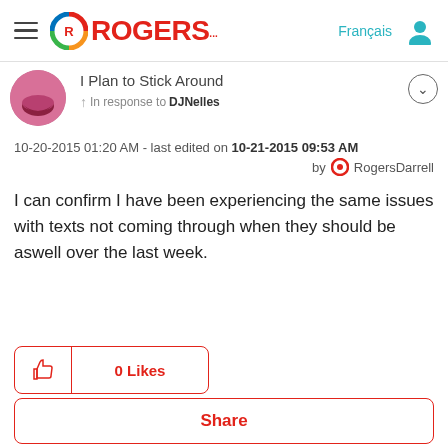[Figure (logo): Rogers logo with colorful circular icon and red ROGERS text]
Français
I Plan to Stick Around
In response to DJNelles
10-20-2015 01:20 AM - last edited on 10-21-2015 09:53 AM by RogersDarrell
I can confirm I have been experiencing the same issues with texts not coming through when they should be aswell over the last week.
0 Likes
Share